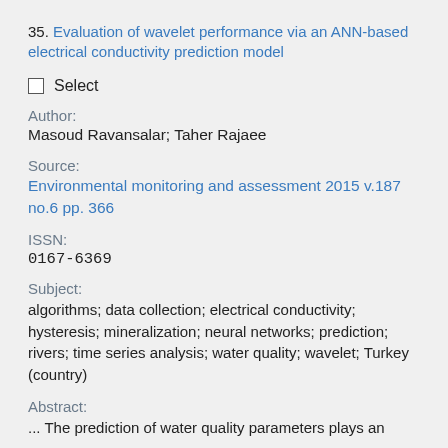35. Evaluation of wavelet performance via an ANN-based electrical conductivity prediction model
Select
Author:
Masoud Ravansalar; Taher Rajaee
Source:
Environmental monitoring and assessment 2015 v.187 no.6 pp. 366
ISSN:
0167-6369
Subject:
algorithms; data collection; electrical conductivity; hysteresis; mineralization; neural networks; prediction; rivers; time series analysis; water quality; wavelet; Turkey (country)
Abstract:
... The prediction of water quality parameters plays an